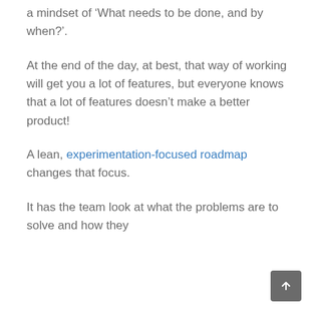a mindset of ‘What needs to be done, and by when?’.
At the end of the day, at best, that way of working will get you a lot of features, but everyone knows that a lot of features doesn't make a better product!
A lean, experimentation-focused roadmap changes that focus.
It has the team look at what the problems are to solve and how they